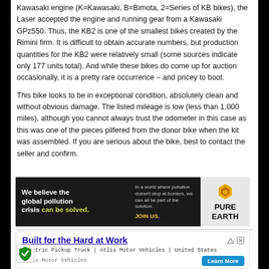Kawasaki engine (K=Kawasaki, B=Bimota, 2=Series of KB bikes), the Laser accepted the engine and running gear from a Kawasaki GPz550. Thus, the KB2 is one of the smallest bikes created by the Rimini firm. It is difficult to obtain accurate numbers, but production quantities for the KB2 were relatively small (some sources indicate only 177 units total). And while these bikes do come up for auction occasionally, it is a pretty rare occurrence – and pricey to boot.
This bike looks to be in exceptional condition, absolutely clean and without obvious damage. The listed mileage is low (less than 1,000 miles), although you cannot always trust the odometer in this case as this was one of the pieces pilfered from the donor bike when the kit was assembled. If you are serious about the bike, best to contact the seller and confirm.
[Figure (infographic): Pure Earth advertisement banner: dark background with white bold text 'We believe the global pollution crisis can be solved.' with 'can be solved.' in yellow-green. Right section has smaller text about pollution not stopping at borders and a JOIN US call to action in yellow. Logo section with diamond icon and PURE EARTH text.]
[Figure (infographic): Advertisement: 'Built for the Hard at Work' in blue underlined text, subtitle 'Electric Pickup Truck | Atlis Motor Vehicles | United States', brand name 'Atlis Motor Vehicles', and a blue 'Learn More' button. Small ad icons in top right.]